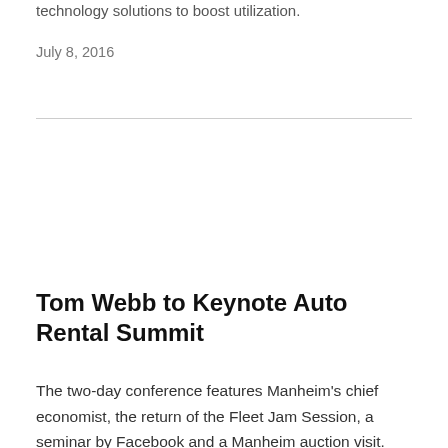technology solutions to boost utilization.
July 8, 2016
Tom Webb to Keynote Auto Rental Summit
The two-day conference features Manheim's chief economist, the return of the Fleet Jam Session, a seminar by Facebook and a Manheim auction visit.